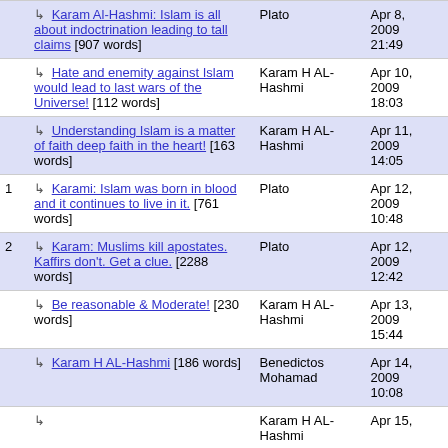| # | Title | Author | Date |
| --- | --- | --- | --- |
|  | ↳ Karam Al-Hashmi: Islam is all about indoctrination leading to tall claims [907 words] | Plato | Apr 8, 2009 21:49 |
|  | ↳ Hate and enemity against Islam would lead to last wars of the Universe! [112 words] | Karam H AL-Hashmi | Apr 10, 2009 18:03 |
|  | ↳ Understanding Islam is a matter of faith deep faith in the heart! [163 words] | Karam H AL-Hashmi | Apr 11, 2009 14:05 |
| 1 | ↳ Karami: Islam was born in blood and it continues to live in it. [761 words] | Plato | Apr 12, 2009 10:48 |
| 2 | ↳ Karam: Muslims kill apostates. Kaffirs don't. Get a clue. [2288 words] | Plato | Apr 12, 2009 12:42 |
|  | ↳ Be reasonable & Moderate! [230 words] | Karam H AL-Hashmi | Apr 13, 2009 15:44 |
|  | ↳ Karam H AL-Hashmi [186 words] | Benedictos Mohamad | Apr 14, 2009 10:08 |
|  | ↳ | Karam H AL-Hashmi | Apr 15, |